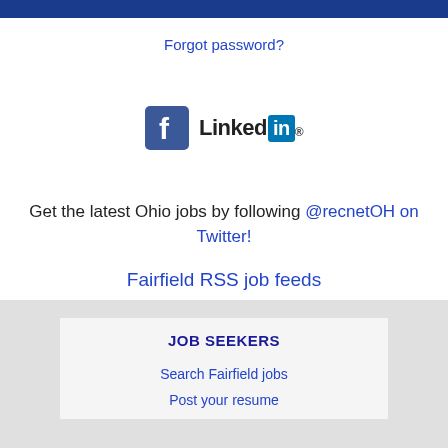Forgot password?
[Figure (logo): Facebook logo icon and LinkedIn logo side by side]
Get the latest Ohio jobs by following @recnetOH on Twitter!
Fairfield RSS job feeds
JOB SEEKERS
Search Fairfield jobs
Post your resume